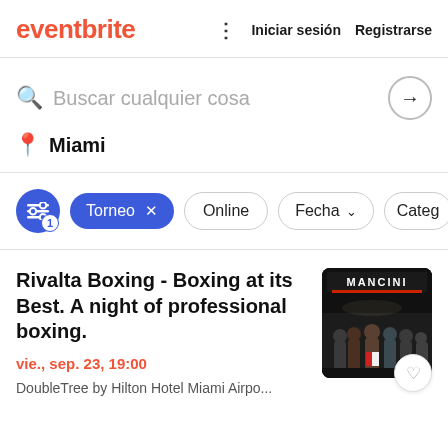eventbrite   Iniciar sesión   Registrarse
Buscar cualquier cosa
Miami
Torneo × Online Fecha ˅ Categ
Rivalta Boxing - Boxing at its Best. A night of professional boxing.
vie., sep. 23, 19:00
DoubleTree by Hilton Hotel Miami Airpo...
[Figure (photo): Event thumbnail showing boxers in a ring under the MANCINI banner]